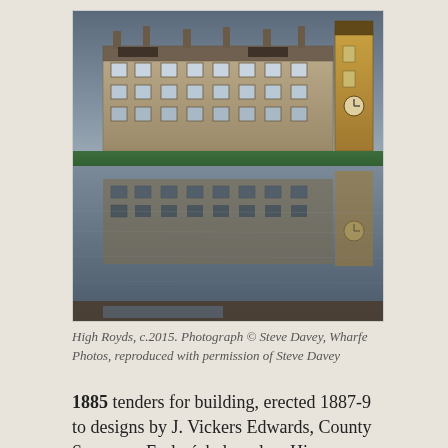[Figure (photo): High Royds building with its reflection visible in a flooded foreground. Large Victorian institution with stone facade, multiple chimneys, and a clock tower visible on the right. Sky is overcast/dusk. Photograph circa 2015.]
High Royds, c.2015. Photograph © Steve Davey, Wharfe Photos, reproduced with permission of Steve Davey
1885 tenders for building, erected 1887-9 to designs by J. Vickers Edwards, County Surveyor. Early échelon plan, Hine